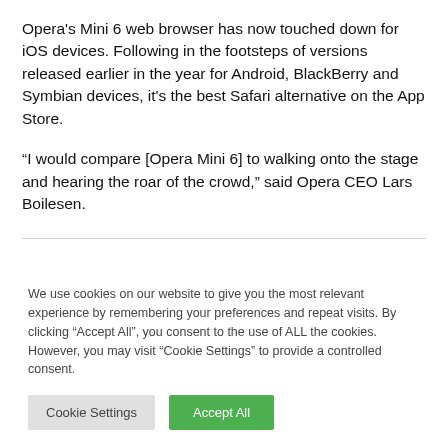Opera's Mini 6 web browser has now touched down for iOS devices. Following in the footsteps of versions released earlier in the year for Android, BlackBerry and Symbian devices, it's the best Safari alternative on the App Store.
“I would compare [Opera Mini 6] to walking onto the stage and hearing the roar of the crowd,” said Opera CEO Lars Boilesen.
We use cookies on our website to give you the most relevant experience by remembering your preferences and repeat visits. By clicking “Accept All”, you consent to the use of ALL the cookies. However, you may visit “Cookie Settings” to provide a controlled consent.